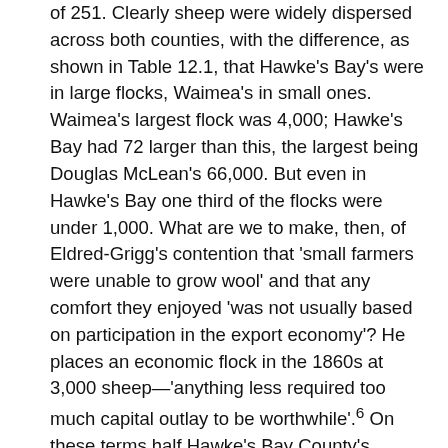of 251. Clearly sheep were widely dispersed across both counties, with the difference, as shown in Table 12.1, that Hawke's Bay's were in large flocks, Waimea's in small ones. Waimea's largest flock was 4,000; Hawke's Bay had 72 larger than this, the largest being Douglas McLean's 66,000. But even in Hawke's Bay one third of the flocks were under 1,000. What are we to make, then, of Eldred-Grigg's contention that 'small farmers were unable to grow wool' and that any comfort they enjoyed 'was not usually based on participation in the export economy'? He places an economic flock in the 1860s at 3,000 sheep—'anything less required too much capital outlay to be worthwhile'.6 On these terms half Hawke's Bay County's sheepowners of 1885, and